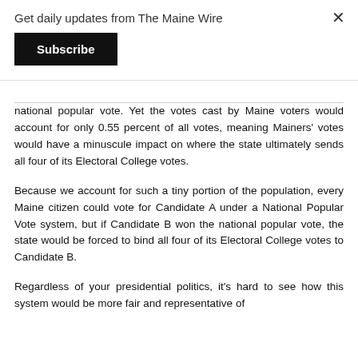Get daily updates from The Maine Wire
national popular vote. Yet the votes cast by Maine voters would account for only 0.55 percent of all votes, meaning Mainers' votes would have a minuscule impact on where the state ultimately sends all four of its Electoral College votes.
Because we account for such a tiny portion of the population, every Maine citizen could vote for Candidate A under a National Popular Vote system, but if Candidate B won the national popular vote, the state would be forced to bind all four of its Electoral College votes to Candidate B.
Regardless of your presidential politics, it's hard to see how this system would be more fair and representative of